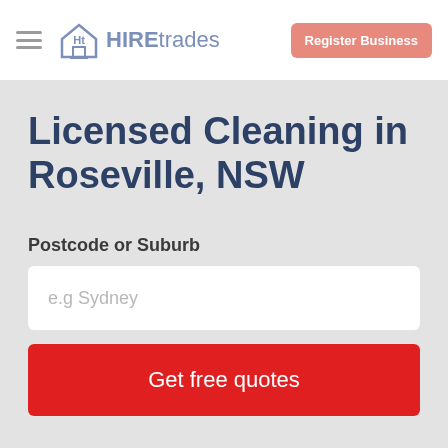HIREtrades | Register Business
Licensed Cleaning in Roseville, NSW
Postcode or Suburb
e.g Sydney
Get free quotes